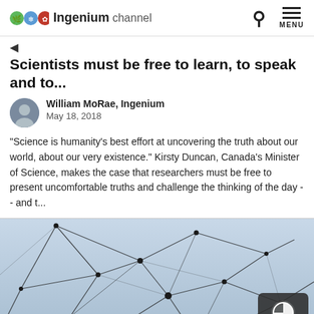Ingenium channel
Scientists must be free to learn, to speak and to...
William MoRae, Ingenium
May 18, 2018
"Science is humanity's best effort at uncovering the truth about our world, about our very existence." Kirsty Duncan, Canada's Minister of Science, makes the case that researchers must be free to present uncomfortable truths and challenge the thinking of the day -- and t...
[Figure (photo): Abstract network of connected nodes with geometric lines against a light blue background, with a dark badge showing a clock icon and '7 m' reading time indicator in the bottom right corner.]